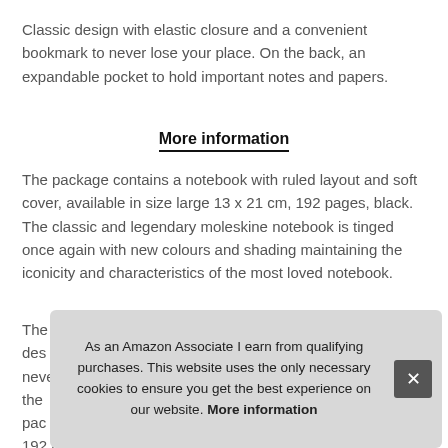Classic design with elastic closure and a convenient bookmark to never lose your place. On the back, an expandable pocket to hold important notes and papers.
More information
The package contains a notebook with ruled layout and soft cover, available in size large 13 x 21 cm, 192 pages, black. The classic and legendary moleskine notebook is tinged once again with new colours and shading maintaining the iconicity and characteristics of the most loved notebook.
The [partially obscured text] des[partially obscured] neve[partially obscured] the [partially obscured] pac[partially obscured] 192 pages, available in size large 13 x 21 cm, black. The
As an Amazon Associate I earn from qualifying purchases. This website uses the only necessary cookies to ensure you get the best experience on our website. More information